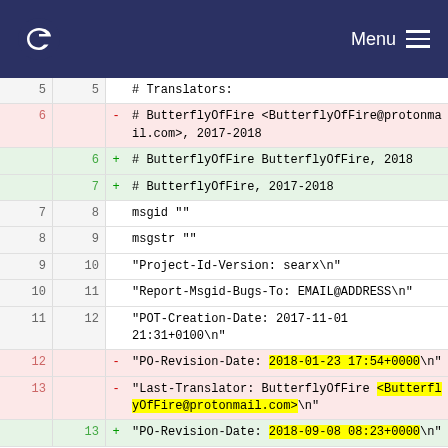e Menu
| old line | new line | diff | content |
| --- | --- | --- | --- |
| 5 | 5 |  | # Translators: |
| 6 |  | - | # ButterflyOfFire <ButterflyOfFire@protonmail.com>, 2017-2018 |
|  | 6 | + | # ButterflyOfFire ButterflyOfFire, 2018 |
|  | 7 | + | # ButterflyOfFire, 2017-2018 |
| 7 | 8 |  | msgid "" |
| 8 | 9 |  | msgstr "" |
| 9 | 10 |  | "Project-Id-Version: searx\n" |
| 10 | 11 |  | "Report-Msgid-Bugs-To: EMAIL@ADDRESS\n" |
| 11 | 12 |  | "POT-Creation-Date: 2017-11-01 21:31+0100\n" |
| 12 |  | - | "PO-Revision-Date: 2018-01-23 17:54+0000\n" |
| 13 |  | - | "Last-Translator: ButterflyOfFire <ButterflyOfFire@protonmail.com>\n" |
|  | 13 | + | "PO-Revision-Date: 2018-09-08 08:23+0000\n" |